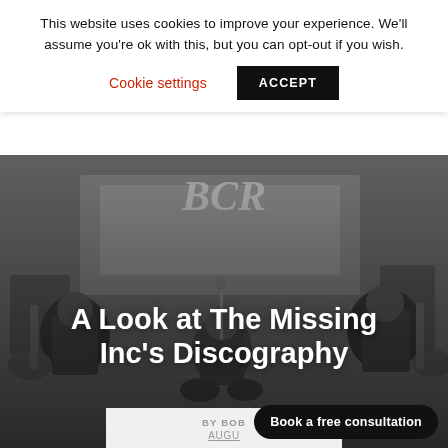This website uses cookies to improve your experience. We'll assume you're ok with this, but you can opt-out if you wish.
Cookie settings
ACCEPT
[Figure (photo): Black and white photo of a band performing on stage with three musicians playing guitars and drums]
A Look at The Missing Inc's Discography
BY BOB
AUGUST
Book a free consultation